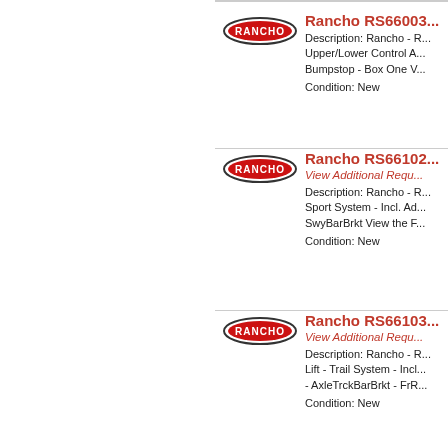[Figure (logo): Rancho brand logo - oval shape with RANCHO text]
Rancho RS66003...
Description: Rancho - R... Upper/Lower Control A... Bumpstop - Box One V...
Condition: New
[Figure (logo): Rancho brand logo - oval shape with RANCHO text]
Rancho RS66102...
View Additional Requ...
Description: Rancho - R... Sport System - Incl. Ad... SwyBarBrkt View the F...
Condition: New
[Figure (logo): Rancho brand logo - oval shape with RANCHO text]
Rancho RS66103...
View Additional Requ...
Description: Rancho - R... Lift - Trail System - Incl... - AxleTrckBarBrkt - FrR...
Condition: New
[Figure (logo): Rancho brand logo - oval shape with RANCHO text]
Rancho RS66103...
View Additional Requ...